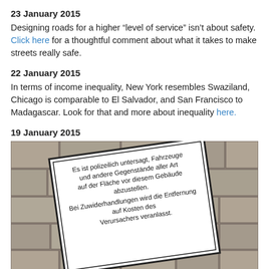23 January 2015
Designing roads for a higher “level of service” isn’t about safety. Click here for a thoughtful comment about what it takes to make streets really safe.
22 January 2015
In terms of income inequality, New York resembles Swaziland, Chicago is comparable to El Salvador, and San Francisco to Madagascar. Look for that and more about inequality here.
19 January 2015
[Figure (photo): A German-language sign on a stone wall that reads: Es ist polizeilich untersagt, Fahrzeuge und andere Gegenstände aller Art auf der Fläche vor diesem Gebäude abzustellen. Bei Zuwiderhandlungen wird die Entfernung auf Kosten des Verursachers veranlasst.]